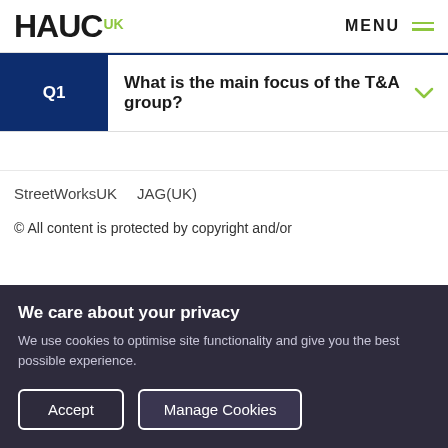HAUC UK   MENU
Q1  What is the main focus of the T&A group?
StreetWorksUK   JAG(UK)
© All content is protected by copyright and/or
We care about your privacy
We use cookies to optimise site functionality and give you the best possible experience.
[Accept] [Manage Cookies]